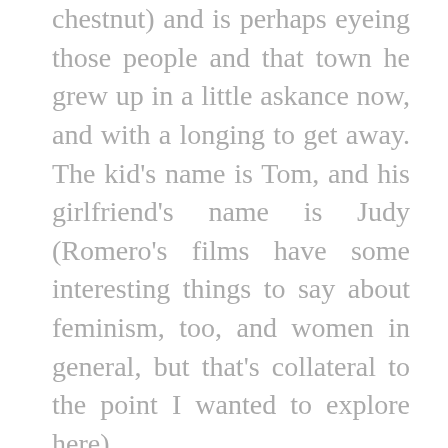chestnut) and is perhaps eyeing those people and that town he grew up in a little askance now, and with a longing to get away. The kid's name is Tom, and his girlfriend's name is Judy (Romero's films have some interesting things to say about feminism, too, and women in general, but that's collateral to the point I wanted to explore here). Tom finds himself gravitating to the leadership of Ben, another survivor who made his way to the house with Barbara, a mostly catatonic blonde who earlier saw her brother murdered by one of the undead when he was going to lay a wreath for their dead mother in a cemetery. Ben's a lithe black man who exudes the kind of precarious pride that someone like heavyweight champion Floyd Patterson represented (or perhaps Sidney Poitier is a better analogy). His behavior, his very existence, makes denying his